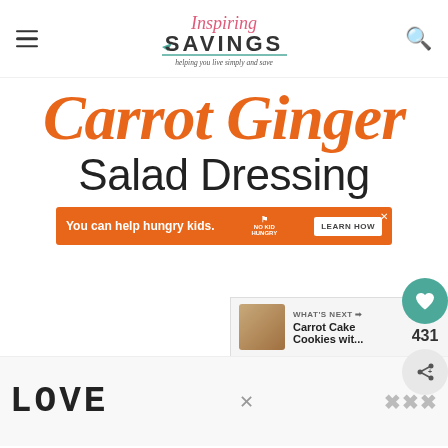Inspiring Savings - helping you live simply and save
Carrot Ginger Salad Dressing
[Figure (infographic): Orange advertisement banner: You can help hungry kids. No Kid Hungry. LEARN HOW]
[Figure (infographic): Social sidebar with heart button showing 431 saves and share button]
[Figure (infographic): What's Next panel showing Carrot Cake Cookies wit...]
[Figure (infographic): Bottom advertisement area with LOVE graphic illustration and partial text]